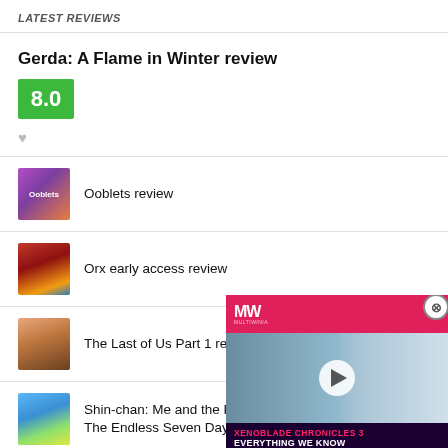LATEST REVIEWS
Gerda: A Flame in Winter review
[Figure (other): Green score box showing 8.0 rating]
♥
[Figure (photo): Ooblets game thumbnail - colorful purple/orange game art]
Ooblets review
[Figure (photo): Orx early access game thumbnail - dark fantasy art]
Orx early access review
[Figure (photo): The Last of Us Part 1 game thumbnail]
The Last of Us Part 1 revi…
[Figure (photo): Shin-chan game thumbnail - colorful landscape]
Shin-chan: Me and the Pr… The Endless Seven Day Journey review
[Figure (screenshot): Video overlay popup showing MW logo and Xenoblade Chronicles 3 Everything We Know promo video with anime character]